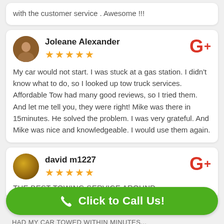with the customer service . Awesome !!!
Joleane Alexander
★★★★★
My car would not start. I was stuck at a gas station. I didn't know what to do, so I looked up tow truck services. Affordable Tow had many good reviews, so I tried them. And let me tell you, they were right! Mike was there in 15minutes. He solved the problem. I was very grateful. And Mike was nice and knowledgeable. I would use them again.
david m1227
★★★★★
THE BEST TOWING SERVICE AROUND,
Click to Call Us!
HAD MY CAR TOWED WITHIN MINUTES...